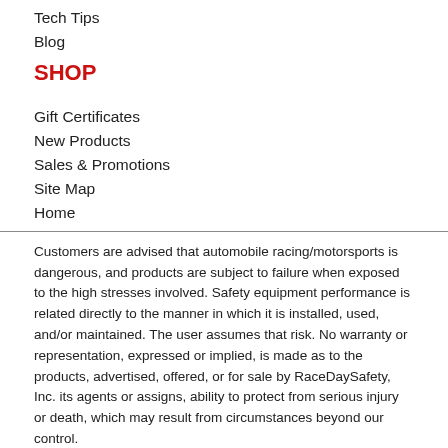Tech Tips
Blog
SHOP
Gift Certificates
New Products
Sales & Promotions
Site Map
Home
Customers are advised that automobile racing/motorsports is dangerous, and products are subject to failure when exposed to the high stresses involved. Safety equipment performance is related directly to the manner in which it is installed, used, and/or maintained. The user assumes that risk. No warranty or representation, expressed or implied, is made as to the products, advertised, offered, or for sale by RaceDaySafety, Inc. its agents or assigns, ability to protect from serious injury or death, which may result from circumstances beyond our control.
Alpinestars Tech-1 T V3 Auto Race Shoes White/Black/Red---Coming Soon!
Copyright © 2008 - 2022 RaceDaySafety.com - Performance Parts for the Driver. All Rights Reserved.